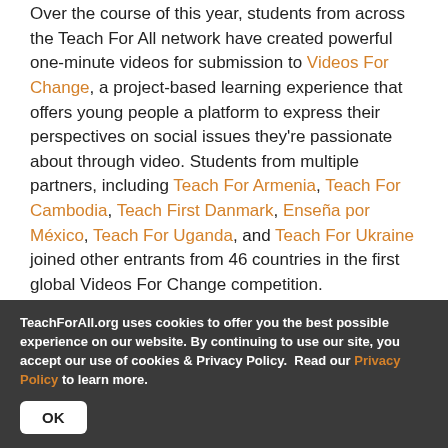Over the course of this year, students from across the Teach For All network have created powerful one-minute videos for submission to Videos For Change, a project-based learning experience that offers young people a platform to express their perspectives on social issues they're passionate about through video. Students from multiple partners, including Teach For Armenia, Teach For Cambodia, Teach First Danmark, Enseña por México, Teach For Uganda, and Teach For Ukraine joined other entrants from 46 countries in the first global Videos For Change competition.
The results of the competition were exhibited in an online
TeachForAll.org uses cookies to offer you the best possible experience on our website. By continuing to use our site, you accept our use of cookies & Privacy Policy.  Read our Privacy Policy to learn more.